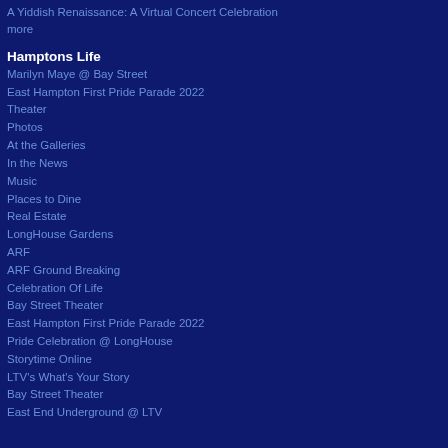A Yiddish Renaissance: A Virtual Concert Celebration
more
Hamptons Life
Marilyn Maye @ Bay Street
East Hampton First Pride Parade 2022
Theater
Photos
At the Galleries
In the News
Music
Places to Dine
Real Estate
LongHouse Gardens
ARF
ARF Ground Breaking
Celebration Of Life
Bay Street Theater
East Hampton First Pride Parade 2022
Pride Celebration @ LongHouse
Storytime Online
LTV's What's Your Story
Bay Street Theater
East End Underground @ LTV